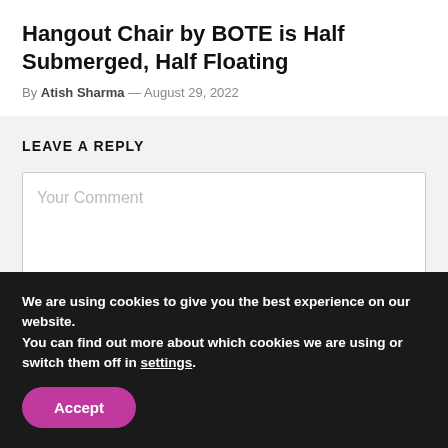Hangout Chair by BOTE is Half Submerged, Half Floating
By Atish Sharma — August 29, 2022
LEAVE A REPLY
Your Comment
We are using cookies to give you the best experience on our website.
You can find out more about which cookies we are using or switch them off in settings.
Accept